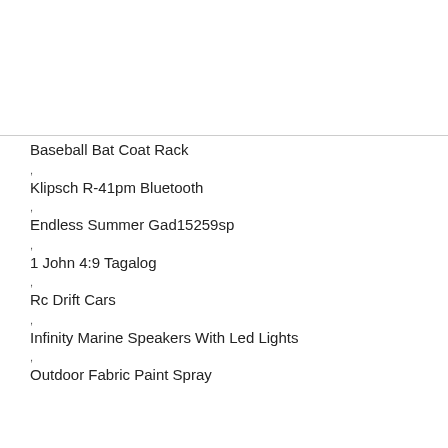Baseball Bat Coat Rack
Klipsch R-41pm Bluetooth
Endless Summer Gad15259sp
1 John 4:9 Tagalog
Rc Drift Cars
Infinity Marine Speakers With Led Lights
Outdoor Fabric Paint Spray